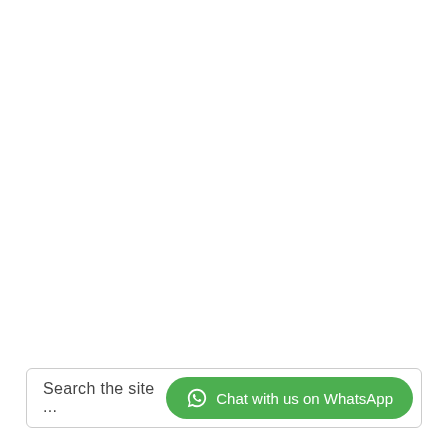[Figure (screenshot): Search bar with placeholder text 'Search the site ...' on the left and a green 'Chat with us on WhatsApp' button with WhatsApp icon on the right, enclosed in a rounded rectangle border at the bottom of the page.]